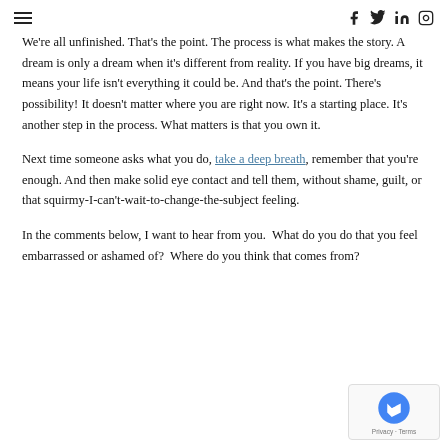≡  [social icons: f, twitter, linkedin, instagram]
We're all unfinished. That's the point. The process is what makes the story. A dream is only a dream when it's different from reality. If you have big dreams, it means your life isn't everything it could be. And that's the point. There's possibility! It doesn't matter where you are right now. It's a starting place. It's another step in the process. What matters is that you own it.
Next time someone asks what you do, take a deep breath, remember that you're enough. And then make solid eye contact and tell them, without shame, guilt, or that squirmy-I-can't-wait-to-change-the-subject feeling.
In the comments below, I want to hear from you.  What do you do that you feel embarrassed or ashamed of?  Where do you think that comes from?